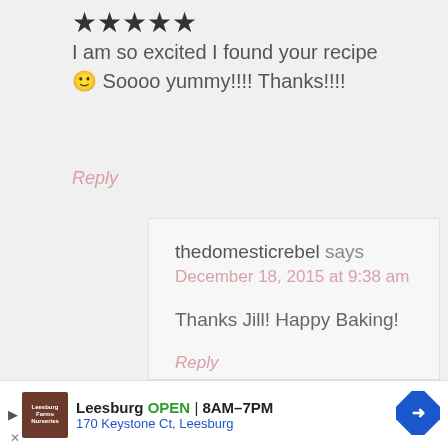[Figure (other): Five black star rating icons]
I am so excited I found your recipe 🙂 Soooo yummy!!!! Thanks!!!!
Reply
thedomesticrebel says
December 18, 2015 at 9:38 am
Thanks Jill! Happy Baking!
Reply
[Figure (other): Accessibility icon - blue circle with white accessibility symbol]
Leesburg OPEN 8AM–7PM 170 Keystone Ct, Leesburg